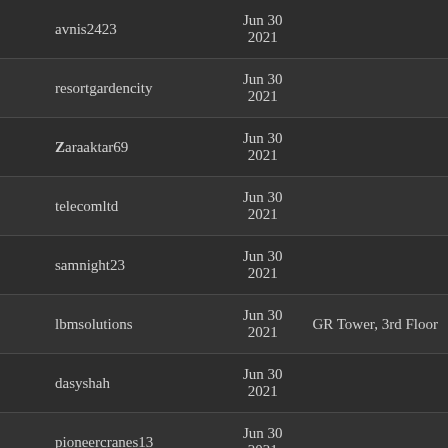| Username | Date | Extra |
| --- | --- | --- |
| avnis2423 | Jun 30 2021 |  |
| resortgardencity | Jun 30 2021 |  |
| Zaraaktar69 | Jun 30 2021 |  |
| telecomltd | Jun 30 2021 |  |
| samnight23 | Jun 30 2021 |  |
| lbmsolutions | Jun 30 2021 | GR Tower, 3rd Floor |
| dasyshah | Jun 30 2021 |  |
| pioneercranes13 | Jun 30 2021 |  |
| chinawpcdoor | Jun 30 2021 |  |